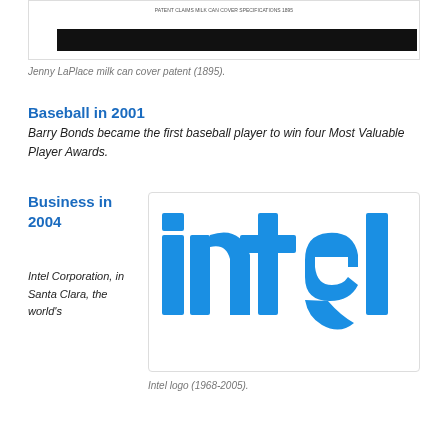[Figure (photo): Cropped image showing a patent document with a black redacted bar at the bottom]
Jenny LaPlace milk can cover patent (1895).
Baseball in 2001
Barry Bonds became the first baseball player to win four Most Valuable Player Awards.
Business in 2004
Intel Corporation, in Santa Clara, the world's
[Figure (logo): Intel logo (1968-2005) — blue stylized intel lettering with dropped 'e']
Intel logo (1968-2005).